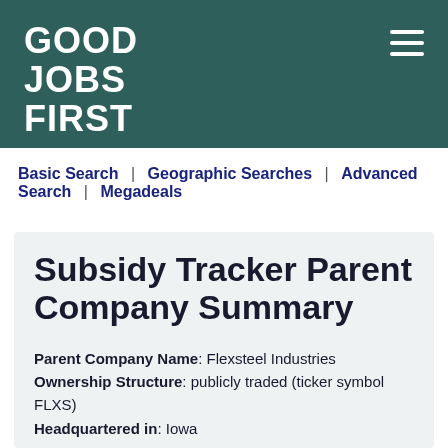GOOD JOBS FIRST
Basic Search | Geographic Searches | Advanced Search | Megadeals
Subsidy Tracker Parent Company Summary
Parent Company Name: Flexsteel Industries
Ownership Structure: publicly traded (ticker symbol FLXS)
Headquartered in: Iowa